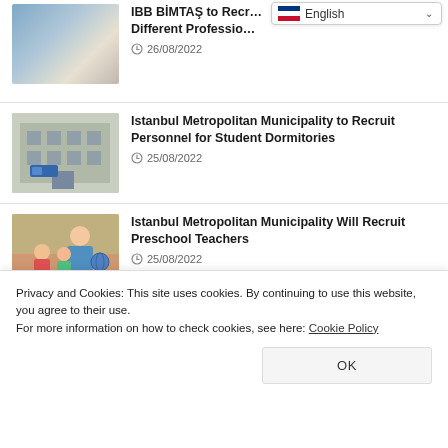[Figure (photo): Handshake between two people in a business meeting setting]
IBB BIMTAŞ to Rec... Different Professio...
26/08/2022
[Figure (photo): Exterior of a multi-story building, student dormitory]
Istanbul Metropolitan Municipality to Recruit Personnel for Student Dormitories
25/08/2022
[Figure (photo): Teacher and preschool children playing at a table]
Istanbul Metropolitan Municipality Will Recruit Preschool Teachers
25/08/2022
[Figure (photo): Partial image of desk/hands, partially obscured by cookie banner]
Privacy and Cookies: This site uses cookies. By continuing to use this website, you agree to their use.
For more information on how to check cookies, see here: Cookie Policy
OK